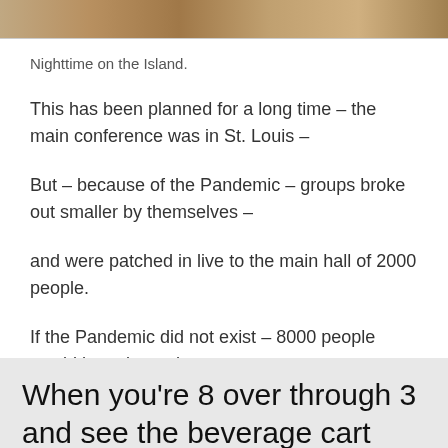[Figure (photo): Partial photo strip at top of page, showing a nighttime or outdoor scene, cropped to a thin horizontal band]
Nighttime on the Island.
This has been planned for a long time – the main conference was in St. Louis –
But – because of the Pandemic – groups broke out smaller by themselves –
and were patched in live to the main hall of 2000 people.
If the Pandemic did not exist – 8000 people would have been there.
When you're 8 over through 3 and see the beverage cart